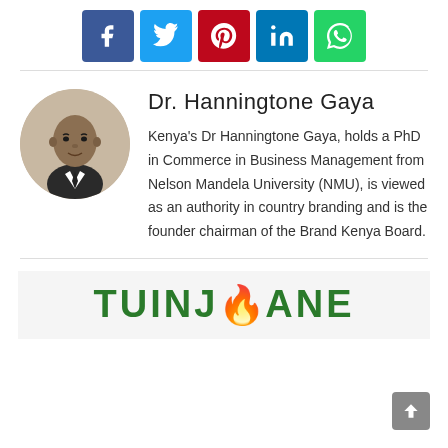[Figure (other): Social media share buttons: Facebook (blue), Twitter (light blue), Pinterest (red), LinkedIn (blue), WhatsApp (green)]
[Figure (photo): Headshot photo of Dr. Hanningtone Gaya, a man in a suit and tie, circular crop]
Dr. Hanningtone Gaya
Kenya's Dr Hanningtone Gaya, holds a PhD in Commerce in Business Management from Nelson Mandela University (NMU), is viewed as an authority in country branding and is the founder chairman of the Brand Kenya Board.
[Figure (logo): Partial logo banner showing 'TUINJANE' text in green with red flame icon]